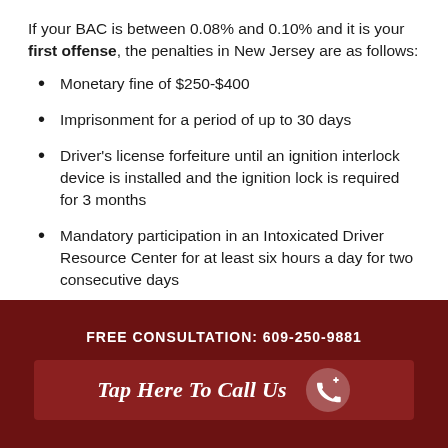If your BAC is between 0.08% and 0.10% and it is your first offense, the penalties in New Jersey are as follows:
Monetary fine of $250-$400
Imprisonment for a period of up to 30 days
Driver's license forfeiture until an ignition interlock device is installed and the ignition lock is required for 3 months
Mandatory participation in an Intoxicated Driver Resource Center for at least six hours a day for two consecutive days
FREE CONSULTATION: 609-250-9881
Tap Here To Call Us